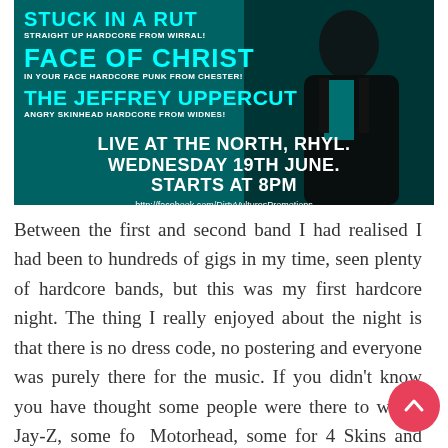[Figure (illustration): Concert/event promotional poster with teal/cyan background and dark silhouetted figure on right. Lists bands: STUCK IN A RUT (Straight up hardcore from Wirral!), FACE OF CHRIST (In your face hardcore punk from Chester!), THE JEFFREY UPPERCUT (Angry skinhead hardcore from Widnes!). Event: LIVE AT THE NORTH, RHYL. WEDNESDAY 19TH JUNE. STARTS AT 8PM. URL: http://facebook.com/DirtyVulturesPromotions]
Between the first and second band I had realised I had been to hundreds of gigs in my time, seen plenty of hardcore bands, but this was my first hardcore night. The thing I really enjoyed about the night is that there is no dress code, no postering and everyone was purely there for the music. If you didn't know you have thought some people were there to watch Jay-Z, some for Motorhead, some for 4 Skins and some for Slayer. Just a great night of loads of different